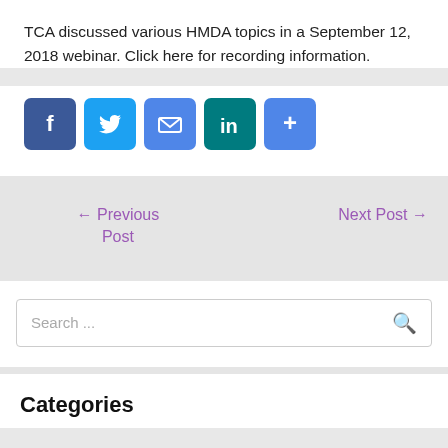TCA discussed various HMDA topics in a September 12, 2018 webinar. Click here for recording information.
[Figure (infographic): Row of five social media sharing icon buttons: Facebook (blue), Twitter (light blue), Email (blue envelope), LinkedIn (teal), and a More/Share plus button (blue)]
← Previous Post
Next Post →
Search ...
Categories